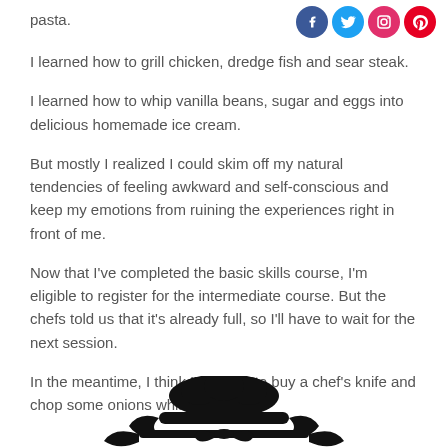pasta.
[Figure (logo): Social media icons: Facebook, Twitter, Instagram, Pinterest]
I learned how to grill chicken, dredge fish and sear steak.
I learned how to whip vanilla beans, sugar and eggs into delicious homemade ice cream.
But mostly I realized I could skim off my natural tendencies of feeling awkward and self-conscious and keep my emotions from ruining the experiences right in front of me.
Now that I've completed the basic skills course, I'm eligible to register for the intermediate course. But the chefs told us that it's already full, so I'll have to wait for the next session.
In the meantime, I think I'm going to buy a chef's knife and chop some onions while I wait.
[Figure (illustration): Black silhouette illustration of a decorative chef's hat or cookware at the bottom of the page]